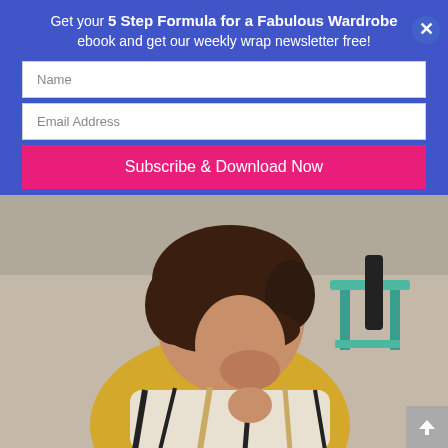Get your 5 Step Formula for a Fabulous Wardrobe ebook and get our weekly wrap newsletter free!
[Figure (screenshot): Email subscription form with Name field, Email Address field, and Subscribe & Download Now button on a blue background, with a close (X) button.]
[Figure (photo): A woman with dark hair wearing a yellow coat and plaid scarf, smiling outdoors. Background shows a teal stool and outdoor cafe setting.]